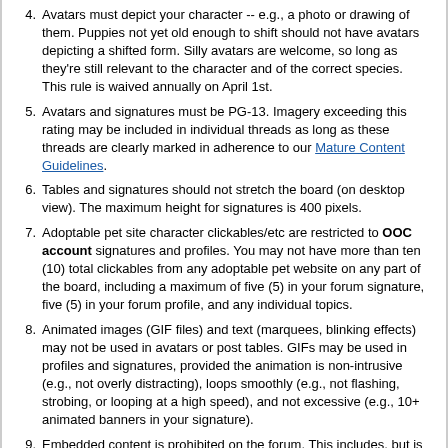4. Avatars must depict your character -- e.g., a photo or drawing of them. Puppies not yet old enough to shift should not have avatars depicting a shifted form. Silly avatars are welcome, so long as they're still relevant to the character and of the correct species. This rule is waived annually on April 1st.
5. Avatars and signatures must be PG-13. Imagery exceeding this rating may be included in individual threads as long as these threads are clearly marked in adherence to our Mature Content Guidelines.
6. Tables and signatures should not stretch the board (on desktop view). The maximum height for signatures is 400 pixels.
7. Adoptable pet site character clickables/etc are restricted to OOC account signatures and profiles. You may not have more than ten (10) total clickables from any adoptable pet website on any part of the board, including a maximum of five (5) in your forum signature, five (5) in your forum profile, and any individual topics.
8. Animated images (GIF files) and text (marquees, blinking effects) may not be used in avatars or post tables. GIFs may be used in profiles and signatures, provided the animation is non-intrusive (e.g., not overly distracting), loops smoothly (e.g., not flashing, strobing, or looping at a high speed), and not excessive (e.g., 10+ animated banners in your signature).
9. Embedded content is prohibited on the forum. This includes, but is not limited to, Flash or Javascript applets, other video content, and music players. You may link to such content, but you may not embed it.